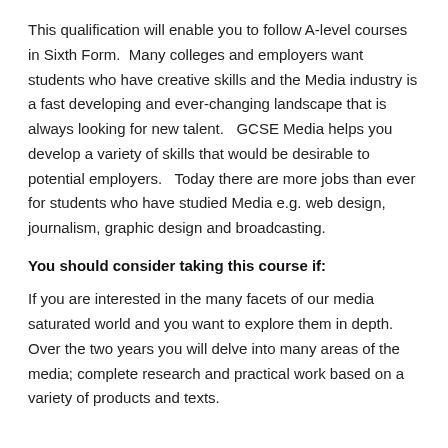This qualification will enable you to follow A-level courses in Sixth Form.  Many colleges and employers want students who have creative skills and the Media industry is a fast developing and ever-changing landscape that is always looking for new talent.   GCSE Media helps you develop a variety of skills that would be desirable to potential employers.   Today there are more jobs than ever for students who have studied Media e.g. web design, journalism, graphic design and broadcasting.
You should consider taking this course if:
If you are interested in the many facets of our media saturated world and you want to explore them in depth.  Over the two years you will delve into many areas of the media; complete research and practical work based on a variety of products and texts.